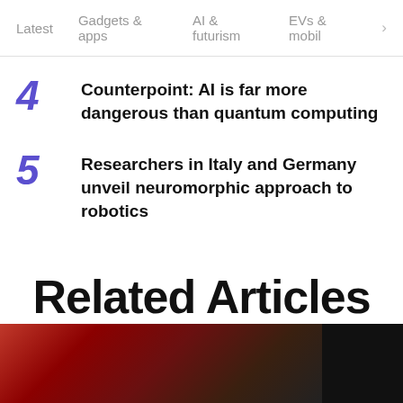Latest  Gadgets & apps  AI & futurism  EVs & mobil >
4  Counterpoint: AI is far more dangerous than quantum computing
5  Researchers in Italy and Germany unveil neuromorphic approach to robotics
Related Articles
[Figure (photo): Bottom strip showing partial images: a blurred red and dark background image on the left, and a black image on the right]